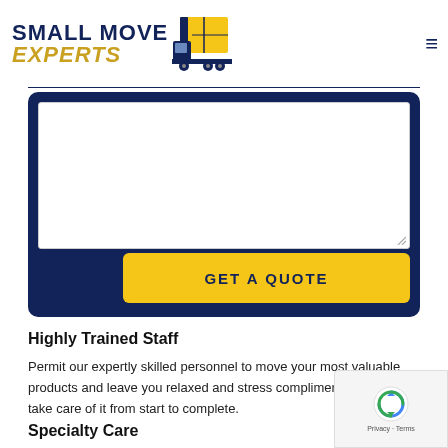[Figure (logo): Small Move Experts logo with navy/gold text and a yellow moving truck illustration]
[Figure (screenshot): Dark navy rounded form box with a white textarea input and a yellow GET A QUOTE button]
Highly Trained Staff
Permit our expertly skilled personnel to move your most valuable products and leave you relaxed and stress complimentary as we take care of it from start to complete.
Specialty Care
Small Move Experts takes unique care to guarantee your most